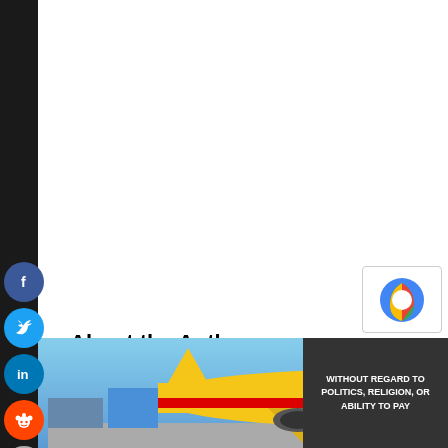[Figure (illustration): Social media share buttons on left side bar: Facebook, Twitter, LinkedIn, Reddit, Email]
About the Author
[Figure (photo): Headshot photo of Gerry Galipault]
Gerry Galipault  Gerry Galipault debuted Pause & Play online in October 1997. Since it has become the definitive place for CD
[Figure (photo): Advertisement showing cargo plane being loaded, with text WITHOUT REGARD TO POLITICS, RELIGION, OR ABILITY TO PAY]